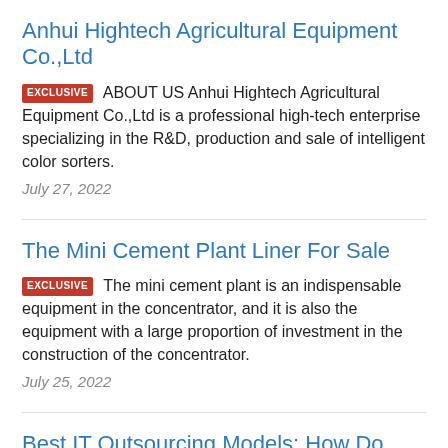Anhui Hightech Agricultural Equipment Co.,Ltd
EXCLUSIVE  ABOUT US Anhui Hightech Agricultural Equipment Co.,Ltd is a professional high-tech enterprise specializing in the R&D, production and sale of intelligent color sorters.
July 27, 2022
The Mini Cement Plant Liner For Sale
EXCLUSIVE  The mini cement plant is an indispensable equipment in the concentrator, and it is also the equipment with a large proportion of investment in the construction of the concentrator.
July 25, 2022
Best IT Outsourcing Models: How Do They...